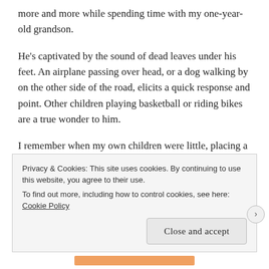more and more while spending time with my one-year-old grandson.
He's captivated by the sound of dead leaves under his feet. An airplane passing over head, or a dog walking by on the other side of the road, elicits a quick response and point. Other children playing basketball or riding bikes are a true wonder to him.
I remember when my own children were little, placing a caterpillar in a jar with leaves, a stick, and of course, holes in the lid. Then checking every day
Privacy & Cookies: This site uses cookies. By continuing to use this website, you agree to their use.
To find out more, including how to control cookies, see here: Cookie Policy
Close and accept